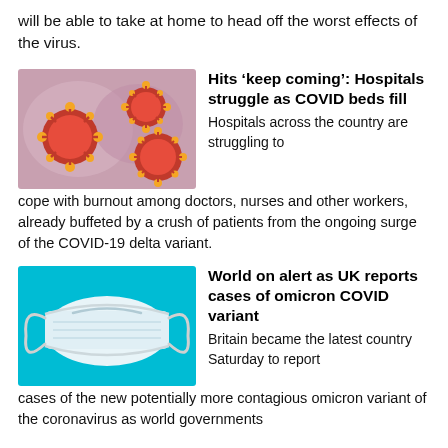will be able to take at home to head off the worst effects of the virus.
[Figure (photo): Close-up illustration of red coronavirus particles on a pink/purple background]
Hits ‘keep coming’: Hospitals struggle as COVID beds fill
Hospitals across the country are struggling to cope with burnout among doctors, nurses and other workers, already buffeted by a crush of patients from the ongoing surge of the COVID-19 delta variant.
[Figure (photo): White surgical face mask on a blue background]
World on alert as UK reports cases of omicron COVID variant
Britain became the latest country Saturday to report cases of the new potentially more contagious omicron variant of the coronavirus as world governments